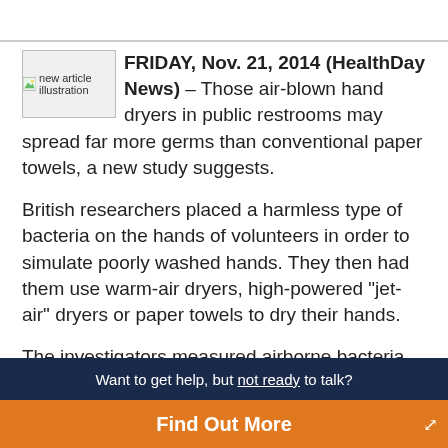[Figure (illustration): Small thumbnail image labeled 'new article illustration' with a green icon]
FRIDAY, Nov. 21, 2014 (HealthDay News) – Those air-blown hand dryers in public restrooms may spread far more germs than conventional paper towels, a new study suggests.
British researchers placed a harmless type of bacteria on the hands of volunteers in order to simulate poorly washed hands. They then had them use warm-air dryers, high-powered "jet-air" dryers or paper towels to dry their hands.
The investigators measured airborne bacteria levels and found higher amounts of germs around both types of dryers than around towel dispensers.
Jet-air dryers were the worst, the study found. Bacteria levels in the air around jet-air dryers were 4.5 times higher
Want to get help, but not ready to talk?
Find Out More